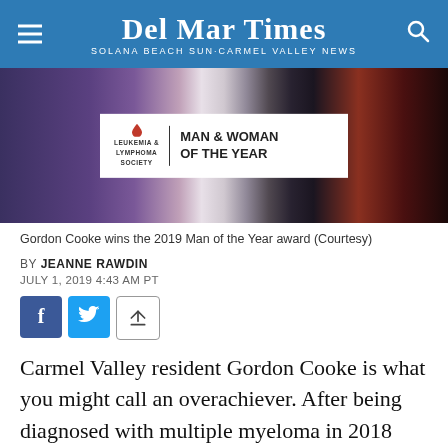Del Mar Times — Solana Beach Sun·Carmel Valley News
[Figure (photo): Dark event venue photo showing a sign that reads 'Leukemia & Lymphoma Society — Man & Woman of the Year']
Gordon Cooke wins the 2019 Man of the Year award (Courtesy)
BY JEANNE RAWDIN
JULY 1, 2019 4:43 AM PT
[Figure (infographic): Social sharing buttons: Facebook, Twitter, Share]
Carmel Valley resident Gordon Cooke is what you might call an overachiever. After being diagnosed with multiple myeloma in 2018 and undergoing aggressive treatment, he decided to join a contest to raise money for other blood-cancer survivors. And he won.